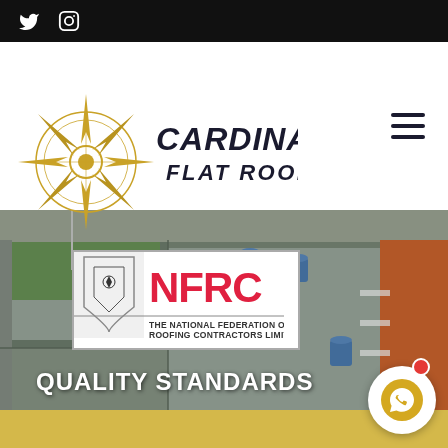Social media icons: Twitter, Instagram
[Figure (logo): Cardinal Flat Roofing logo with gold compass rose and stylized text]
[Figure (photo): Aerial view of flat commercial rooftop with HVAC units, with NFRC (National Federation of Roofing Contractors Limited) logo overlay]
QUALITY STANDARDS